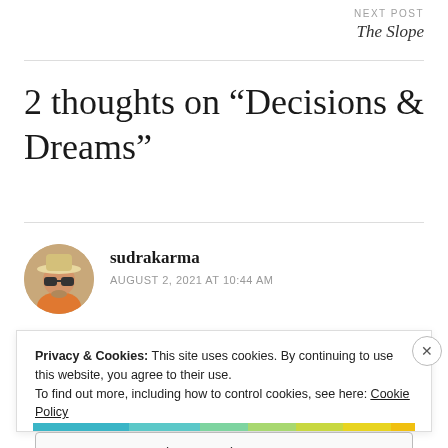NEXT POST
The Slope
2 thoughts on “Decisions & Dreams”
sudrakarma
AUGUST 2, 2021 AT 10:44 AM
Privacy & Cookies: This site uses cookies. By continuing to use this website, you agree to their use.
To find out more, including how to control cookies, see here: Cookie Policy
Close and accept